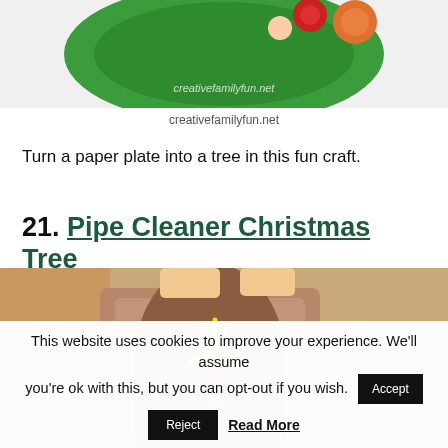[Figure (photo): Partial view of a green paper plate Christmas tree craft with orange and red pom-poms on white background, with watermark 'creativefamilyfun.net']
creativefamilyfun.net
Turn a paper plate into a tree in this fun craft.
21. Pipe Cleaner Christmas Tree
[Figure (photo): Close-up photo of a pipe cleaner Christmas tree craft made with yellow and green pipe cleaners, with a red bead star, set against a wooden toy train set background]
This website uses cookies to improve your experience. We'll assume you're ok with this, but you can opt-out if you wish.
Accept | Reject | Read More